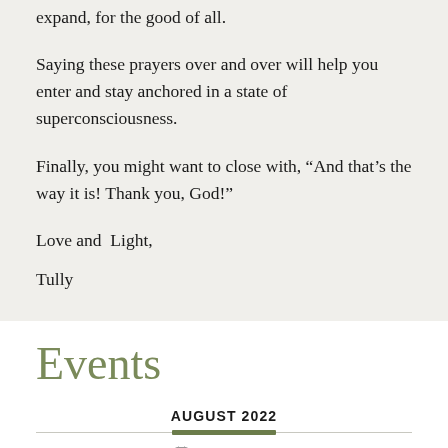expand, for the good of all.
Saying these prayers over and over will help you enter and stay anchored in a state of superconsciousness.
Finally, you might want to close with, “And that’s the way it is! Thank you, God!”
Love and  Light,
Tully
Events
AUGUST 2022
AUG 28 2022